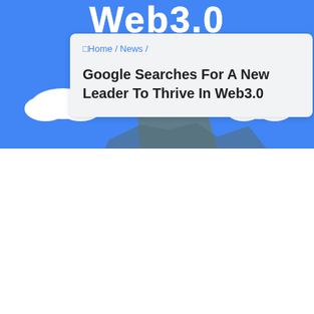[Figure (illustration): Blue banner background with illustrated mountain scene: a person standing on a rocky mountain peak with a red flag, white clouds on either side, against a bright blue sky. 'Web3.0' text displayed in large white bold letters at the top.]
Web3.0
□Home / News /
Google Searches For A New Leader To Thrive In Web3.0